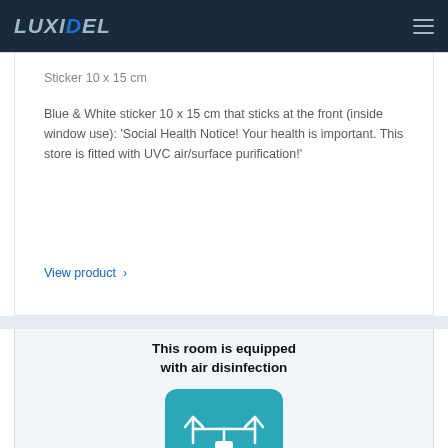LUXIDEL
Sticker 10 x 15 cm
Blue & White sticker 10 x 15 cm that sticks at the front (inside window use): 'Social Health Notice! Your health is important. This store is fitted with UVC air/surface purification!'
View product >
This room is equipped with air disinfection
[Figure (illustration): Teal blue rounded rectangle card showing a white air purification device icon with arrows pointing upward and outward, representing air disinfection.]